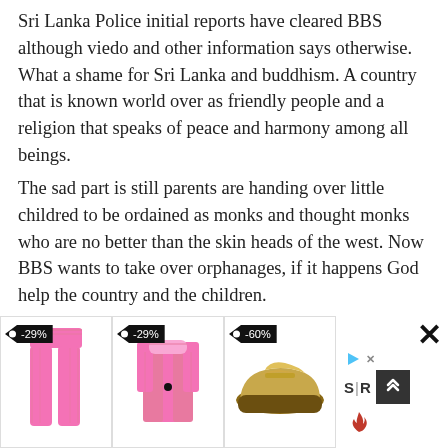Sri Lanka Police initial reports have cleared BBS although viedo and other information says otherwise. What a shame for Sri Lanka and buddhism. A country that is known world over as friendly people and a religion that speaks of peace and harmony among all beings.
The sad part is still parents are handing over little childred to be ordained as monks and thought monks who are no better than the skin heads of the west. Now BBS wants to take over orphanages, if it happens God help the country and the children.
[Figure (photo): Advertisement banner showing three clothing/shoe items with discount tags (-29%, -29%, -60%) and a sidebar with close button, play icon, 'S|R' logo and dark box with chevron arrows, and a flame icon.]